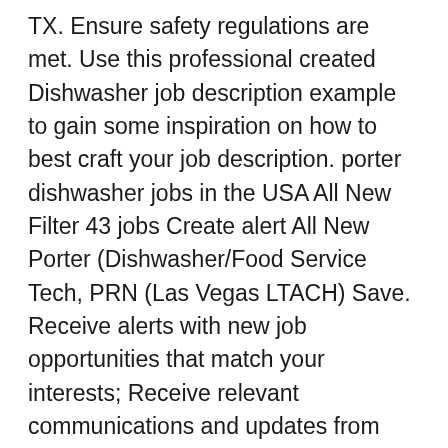TX. Ensure safety regulations are met. Use this professional created Dishwasher job description example to gain some inspiration on how to best craft your job description. porter dishwasher jobs in the USA All New Filter 43 jobs Create alert All New Porter (Dishwasher/Food Service Tech, PRN (Las Vegas LTACH) Save. Receive alerts with new job opportunities that match your interests; Receive relevant communications and updates from our organization Dishwasher Job Description Example/Template. Job Description. Full-time, Part-time. The dishwasher also assists with cleaning … Dishwashers make sure a restaurant's entire stock of plates, cookware and silverware is cleaned throughout a shift. New dishwasher / porter careers are added daily on SimplyHired.com. Full-time, temporary, and part-time jobs. Refer friends, get paid! We are located at 714 Elmeer Ave in Metairie. Start your new career with us today! Job email alerts. Location: Lewiston, NY, United States Date Posted: Nov 24, 2020 Share: mail. our lady of peace in lewiston, ny -- a part of